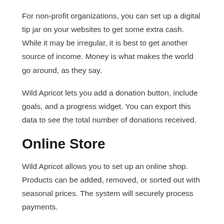For non-profit organizations, you can set up a digital tip jar on your websites to get some extra cash. While it may be irregular, it is best to get another source of income. Money is what makes the world go around, as they say.
Wild Apricot lets you add a donation button, include goals, and a progress widget. You can export this data to see the total number of donations received.
Online Store
Wild Apricot allows you to set up an online shop. Products can be added, removed, or sorted out with seasonal prices. The system will securely process payments.
Wild Apricot also has the option to let them be the ones in charge of logistics. From physical to digital, they accept all kinds of products. In other words, you can sell ebooks and videos.